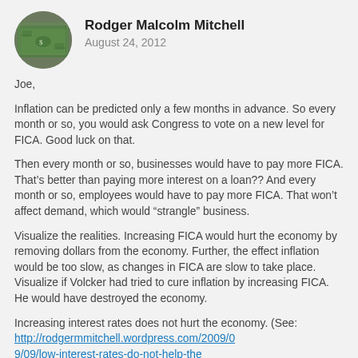Rodger Malcolm Mitchell
August 24, 2012
Joe,
Inflation can be predicted only a few months in advance. So every month or so, you would ask Congress to vote on a new level for FICA. Good luck on that.
Then every month or so, businesses would have to pay more FICA. That’s better than paying more interest on a loan?? And every month or so, employees would have to pay more FICA. That won’t affect demand, which would “strangle” business.
Visualize the realities. Increasing FICA would hurt the economy by removing dollars from the economy. Further, the effect inflation would be too slow, as changes in FICA are slow to take place. Visualize if Volcker had tried to cure inflation by increasing FICA. He would have destroyed the economy.
Increasing interest rates does not hurt the economy. (See: http://rodgermmitchell.wordpress.com/2009/09/09/low-interest-rates-do-not-help-the